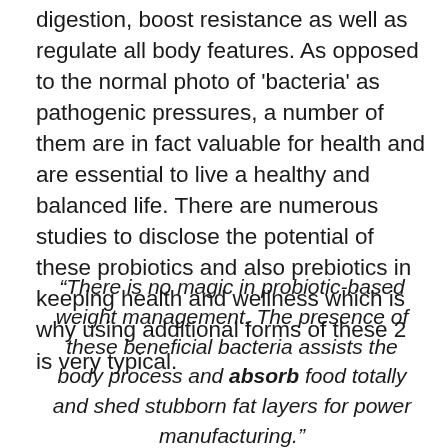digestion, boost resistance as well as regulate all body features. As opposed to the normal photo of 'bacteria' as pathogenic pressures, a number of them are in fact valuable for health and are essential to live a healthy and balanced life. There are numerous studies to disclose the potential of these probiotics and also prebiotics in keeping health and wellness which is why using additional forms of these 2 is very typical.
“There is no magic in probiotic-based weight management. The presence of these beneficial bacteria assists the body process and absorb food totally and shed stubborn fat layers for power manufacturing.”